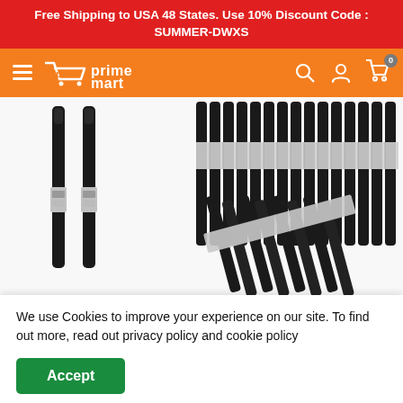Free Shipping to USA 48 States. Use 10% Discount Code : SUMMER-DWXS
[Figure (screenshot): Prime Mart e-commerce navigation bar with hamburger menu, cart logo and 'prime mart' text, search icon, user icon, and cart icon with badge showing 0]
[Figure (photo): Product photo showing black chopsticks with silver decorative bands/labels, two views: individual pair on the left and bundled set on the right]
We use Cookies to improve your experience on our site. To find out more, read out privacy policy and cookie policy
Accept